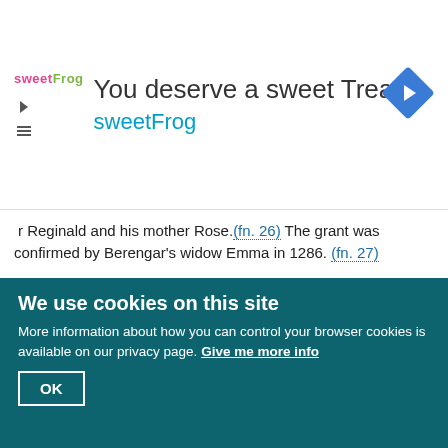[Figure (logo): sweetFrog frozen yogurt brand advertisement banner with logo, navigation controls, title 'You deserve a sweet Treat', subtitle 'sweetFrog', and a blue diamond navigation icon]
r Reginald and his mother Rose. (fn. 26) The grant was confirmed by Berengar's widow Emma in 1286. (fn. 27)
[Figure (illustration): Black and white heraldic illustration showing stylized crown or fleur-de-lis pattern with bold black outlines on white background, partially cropped]
We use cookies on this site
More information about how you can control your browser cookies is available on our privacy page. Give me more info
OK